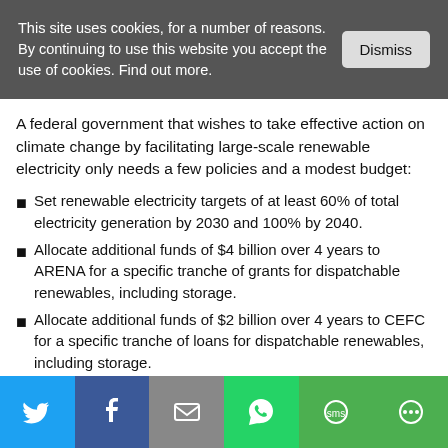This site uses cookies, for a number of reasons. By continuing to use this website you accept the use of cookies. Find out more.
A federal government that wishes to take effective action on climate change by facilitating large-scale renewable electricity only needs a few policies and a modest budget:
Set renewable electricity targets of at least 60% of total electricity generation by 2030 and 100% by 2040.
Allocate additional funds of $4 billion over 4 years to ARENA for a specific tranche of grants for dispatchable renewables, including storage.
Allocate additional funds of $2 billion over 4 years to CEFC for a specific tranche of loans for dispatchable renewables, including storage.
Abolish the Australian Energy Market Commission (AEMC),